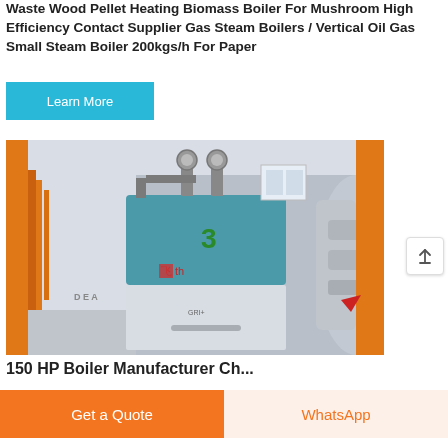Waste Wood Pellet Heating Biomass Boiler For Mushroom High Efficiency Contact Supplier Gas Steam Boilers / Vertical Oil Gas Small Steam Boiler 200kgs/h For Paper
[Figure (other): A cyan/teal button labeled 'Learn More']
[Figure (photo): Industrial boiler room showing a large horizontal steam boiler with number '3' on it, orange pipe supports, pressure gauges, insulated ducting, red accent pipes, and metallic cladding in an industrial facility.]
150 HP Boiler Manufacturer Ch...
[Figure (other): Orange 'Get a Quote' button and light orange 'WhatsApp' button at page bottom]